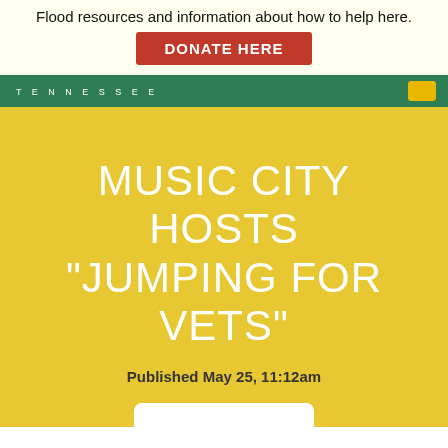Flood resources and information about how to help here.
DONATE HERE
TENNESSEE
MUSIC CITY HOSTS "JUMPING FOR VETS"
Published May 25, 11:12am
[Figure (photo): Two skydiving photos side by side: left shows a parachute in blue sky; right shows a person with goggles giving thumbs up during freefall.]